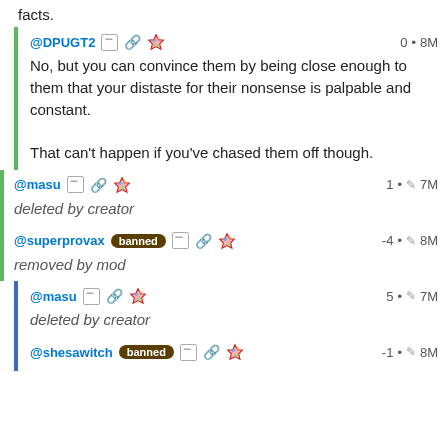facts.
@DPUGT2  0 • 8M
No, but you can convince them by being close enough to them that your distaste for their nonsense is palpable and constant.

That can't happen if you've chased them off though.
@masu  1 • 7M
deleted by creator
@superprovax banned  -4 • 8M
removed by mod
@masu  5 • 7M
deleted by creator
@shesawitch banned  -1 • 8M